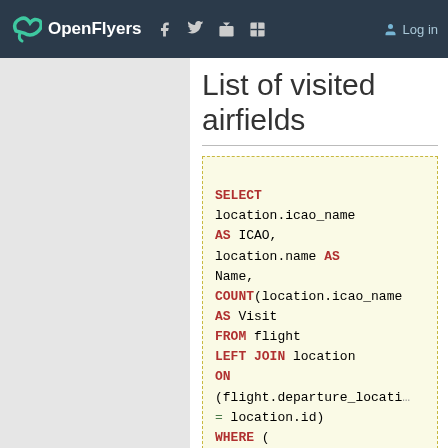OpenFlyers | Log in
List of visited airfields